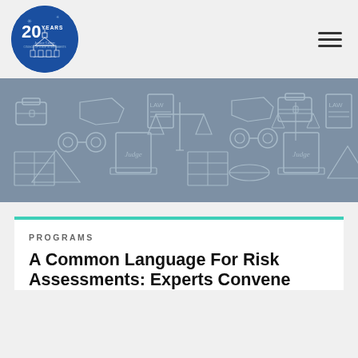[Figure (logo): Justice Center 20 Years logo — circular blue badge with '20 YEARS' text and capitol building illustration]
[Figure (illustration): Decorative banner with hand-drawn legal icons on grey background: briefcases, law books, scales of justice, handcuffs, judge's podiums, file folders, diplomas]
PROGRAMS
A Common Language For Risk Assessments: Experts Convene